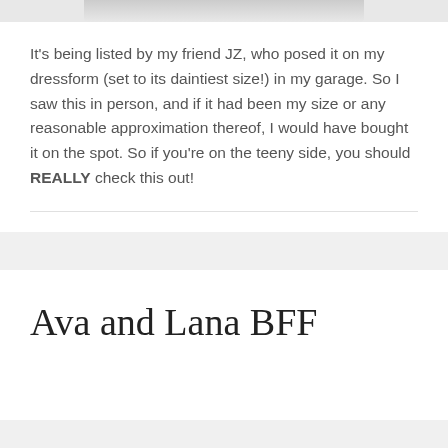[Figure (photo): Partial view of a photo showing what appears to be a dalmatian or spotted fabric/item on a dress form, cropped at the top of the page]
It's being listed by my friend JZ, who posed it on my dressform (set to its daintiest size!) in my garage. So I saw this in person, and if it had been my size or any reasonable approximation thereof, I would have bought it on the spot. So if you're on the teeny side, you should REALLY check this out!
Ava and Lana BFF